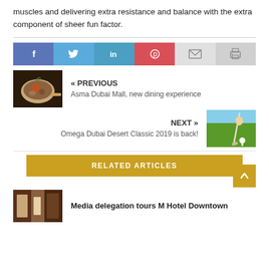muscles and delivering extra resistance and balance with the extra component of sheer fun factor.
[Figure (infographic): Social share buttons: Facebook (blue), Twitter (light blue), LinkedIn (teal), Pinterest (red), Email (light gray), Print (gray)]
[Figure (photo): Thumbnail of food dish in pan - previous article]
« PREVIOUS
Asma Dubai Mall, new dining experience
NEXT »
Omega Dubai Desert Classic 2019 is back!
[Figure (photo): Thumbnail of golf club and ball on tee - next article]
RELATED ARTICLES
[Figure (photo): Thumbnail of hotel interior - related article]
Media delegation tours M Hotel Downtown